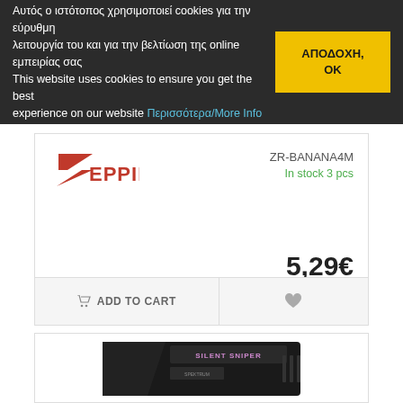Αυτός ο ιστότοπος χρησιμοποιεί cookies για την εύρυθμη λειτουργία του και για την βελτίωση της online εμπειρίας σας This website uses cookies to ensure you get the best experience on our website Περισσότερα/More Info
ΑΠΟΔΟΧΗ, ΟΚ
ZR-BANANA4M
In stock 3 pcs
5,29€
Batteries-Accessories
ADD TO CART
[Figure (photo): Black electronic device labeled SILENT SNIPER, appears to be an RC car component or similar hobby electronics device]
[Figure (logo): Zeppin brand logo in red with stylized Z and lightning bolt]